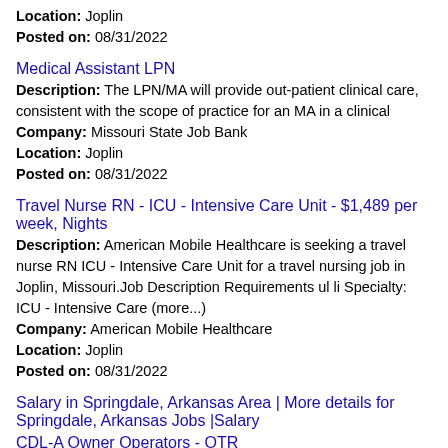Location: Joplin
Posted on: 08/31/2022
Medical Assistant LPN
Description: The LPN/MA will provide out-patient clinical care, consistent with the scope of practice for an MA in a clinical
Company: Missouri State Job Bank
Location: Joplin
Posted on: 08/31/2022
Travel Nurse RN - ICU - Intensive Care Unit - $1,489 per week, Nights
Description: American Mobile Healthcare is seeking a travel nurse RN ICU - Intensive Care Unit for a travel nursing job in Joplin, Missouri.Job Description Requirements ul li Specialty: ICU - Intensive Care (more...)
Company: American Mobile Healthcare
Location: Joplin
Posted on: 08/31/2022
Salary in Springdale, Arkansas Area | More details for Springdale, Arkansas Jobs |Salary
CDL-A Owner Operators - OTR